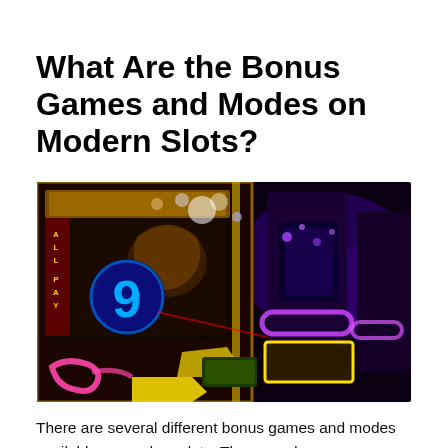What Are the Bonus Games and Modes on Modern Slots?
[Figure (photo): Close-up photograph of colorful slot machines in a casino with neon lights, showing a machine with a '9' symbol and 'ALL PAY' text, with other illuminated slot machines in the background.]
There are several different bonus games and modes available on modern slots. These modes